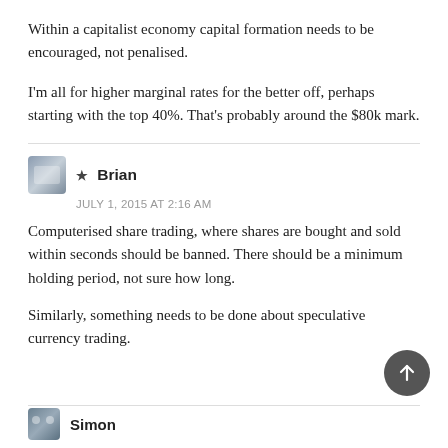Within a capitalist economy capital formation needs to be encouraged, not penalised.
I'm all for higher marginal rates for the better off, perhaps starting with the top 40%. That's probably around the $80k mark.
★ Brian
JULY 1, 2015 AT 2:16 AM
Computerised share trading, where shares are bought and sold within seconds should be banned. There should be a minimum holding period, not sure how long.
Similarly, something needs to be done about speculative currency trading.
Simon